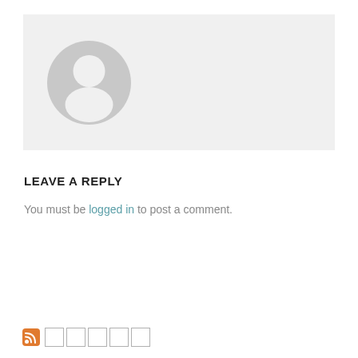[Figure (illustration): Default user avatar placeholder with grey circle background and white person silhouette icon]
LEAVE A REPLY
You must be logged in to post a comment.
RSS icon followed by five small square boxes